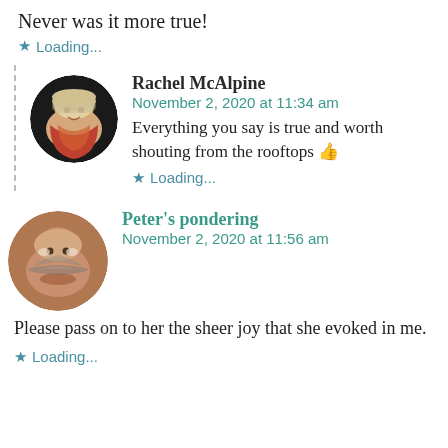Never was it more true!
★ Loading...
Rachel McAlpine
November 2, 2020 at 11:34 am
Everything you say is true and worth shouting from the rooftops 👍
★ Loading...
Peter's pondering
November 2, 2020 at 11:56 am
Please pass on to her the sheer joy that she evoked in me.
★ Loading...